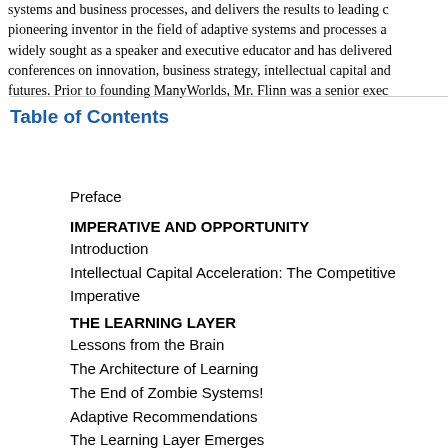systems and business processes, and delivers the results to leading c... pioneering inventor in the field of adaptive systems and processes a... widely sought as a speaker and executive educator and has delivered conferences on innovation, business strategy, intellectual capital and futures. Prior to founding ManyWorlds, Mr. Flinn was a senior exec...
Table of Contents
Preface
IMPERATIVE AND OPPORTUNITY
Introduction
Intellectual Capital Acceleration: The Competitive Imperative
THE LEARNING LAYER
Lessons from the Brain
The Architecture of Learning
The End of Zombie Systems!
Adaptive Recommendations
The Learning Layer Emerges
Social Networks and Knowledge Management Unite!
Processes that Learn